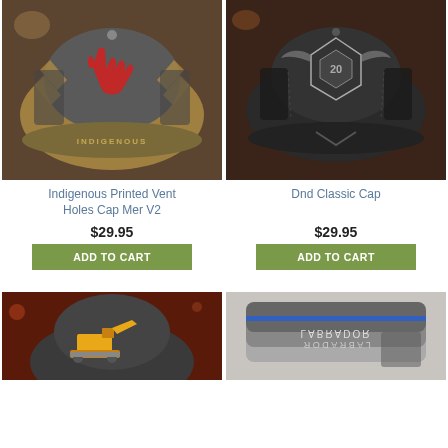[Figure (photo): Indigenous Printed Vent Holes Cap Mer V2 - a baseball cap with red handprint design and feather patterns, text 'INDIGENOUS' on brim]
[Figure (photo): Dnd Classic Cap - a dark baseball cap with D&D 20-sided die emblem design]
Indigenous Printed Vent Holes Cap Mer V2
Dnd Classic Cap
$29.95
$29.95
ADD TO CART
ADD TO CART
[Figure (photo): Excavator themed cap with yellow construction excavator graphic]
[Figure (photo): Labrador themed cap showing 'LABRADOR' text and blue/grey design with hand graphic]